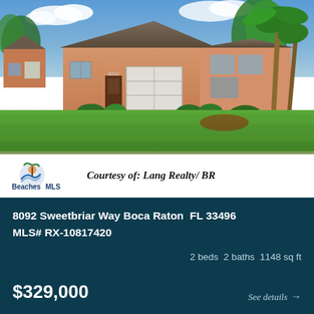[Figure (photo): Exterior photo of a single-story Florida home at 8092 Sweetbriar Way, Boca Raton, FL with a driveway, palm trees, and green lawn under a partly cloudy sky.]
Courtesy of: Lang Realty/ BR
8092 Sweetbriar Way Boca Raton FL 33496
MLS# RX-10817420
2 beds 2 baths 1148 sq ft
$329,000
See details →